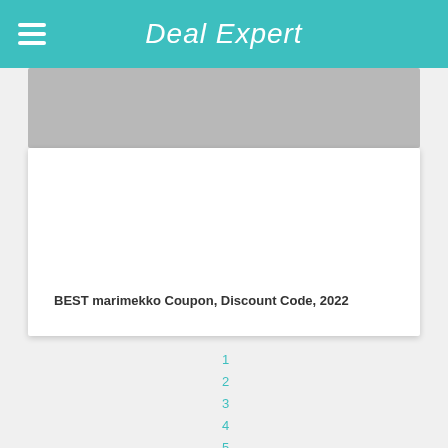Deal Expert
[Figure (screenshot): Gray placeholder banner image below header]
BEST marimekko Coupon, Discount Code, 2022
1
2
3
4
5
6
7
8
9
10
11
12